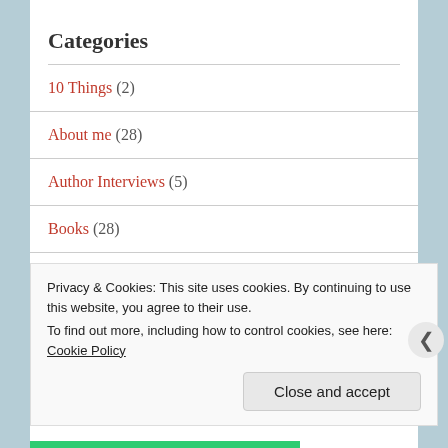Categories
10 Things (2)
About me (28)
Author Interviews (5)
Books (28)
Guest Post (5)
Privacy & Cookies: This site uses cookies. By continuing to use this website, you agree to their use.
To find out more, including how to control cookies, see here: Cookie Policy
Close and accept